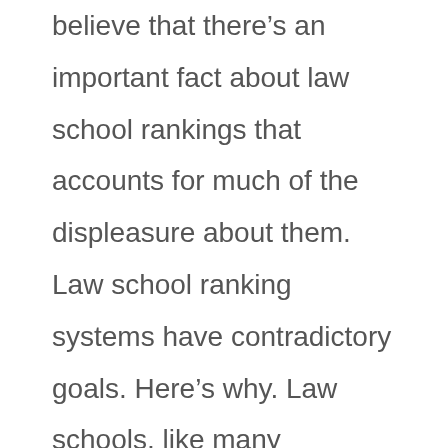believe that there's an important fact about law school rankings that accounts for much of the displeasure about them. Law school ranking systems have contradictory goals. Here's why. Law schools, like many institutions, are not incredibly dynamic and changing in the short term. They often change slowly, not dramatically. The result: We shouldn't see much movement year to year in the